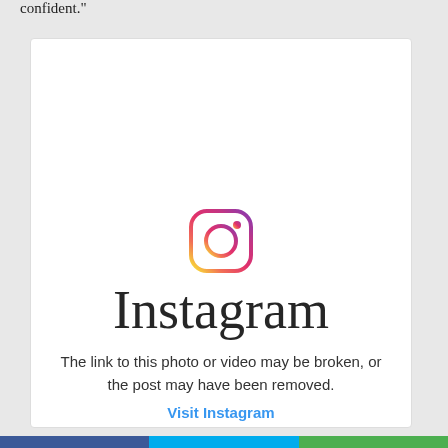confident.”
[Figure (screenshot): Instagram embedded post placeholder showing the Instagram logo icon and wordmark with message: The link to this photo or video may be broken, or the post may have been removed. With a Visit Instagram link.]